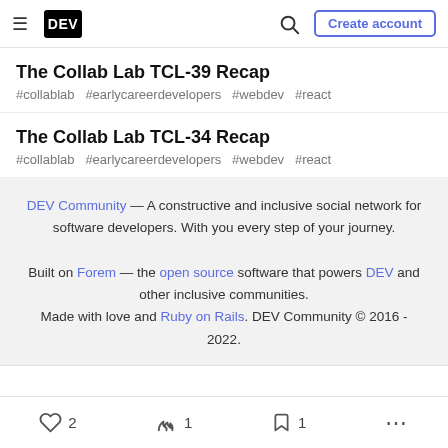DEV — Create account
The Collab Lab TCL-39 Recap
#collablab #earlycareerdevelopers #webdev #react
The Collab Lab TCL-34 Recap
#collablab #earlycareerdevelopers #webdev #react
DEV Community — A constructive and inclusive social network for software developers. With you every step of your journey. Built on Forem — the open source software that powers DEV and other inclusive communities. Made with love and Ruby on Rails. DEV Community © 2016 - 2022.
2  1  1  ...